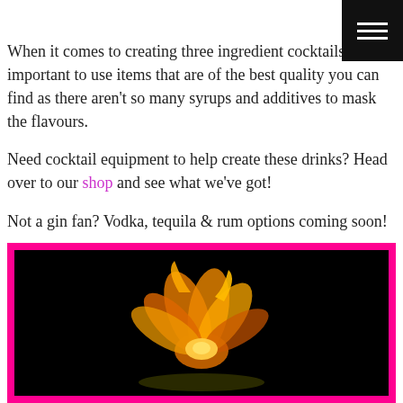When it comes to creating three ingredient cocktails it's important to use items that are of the best quality you can find as there aren't so many syrups and additives to mask the flavours.
Need cocktail equipment to help create these drinks? Head over to our shop and see what we've got!
Not a gin fan? Vodka, tequila & rum options coming soon!
[Figure (photo): A cocktail garnish flower (orange/yellow petals) on a dark black background, framed with a hot pink border]